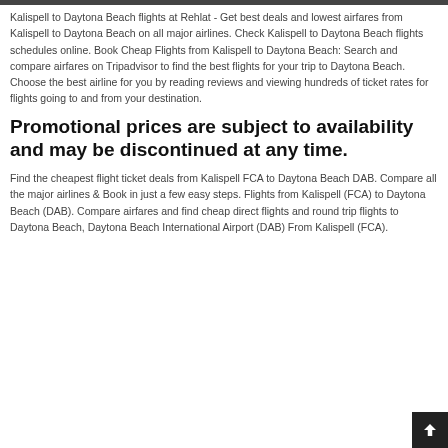Kalispell to Daytona Beach flights at Rehlat - Get best deals and lowest airfares from Kalispell to Daytona Beach on all major airlines. Check Kalispell to Daytona Beach flights schedules online. Book Cheap Flights from Kalispell to Daytona Beach: Search and compare airfares on Tripadvisor to find the best flights for your trip to Daytona Beach. Choose the best airline for you by reading reviews and viewing hundreds of ticket rates for flights going to and from your destination.
Promotional prices are subject to availability and may be discontinued at any time.
Find the cheapest flight ticket deals from Kalispell FCA to Daytona Beach DAB. Compare all the major airlines & Book in just a few easy steps. Flights from Kalispell (FCA) to Daytona Beach (DAB). Compare airfares and find cheap direct flights and round trip flights to Daytona Beach, Daytona Beach International Airport (DAB) From Kalispell (FCA).